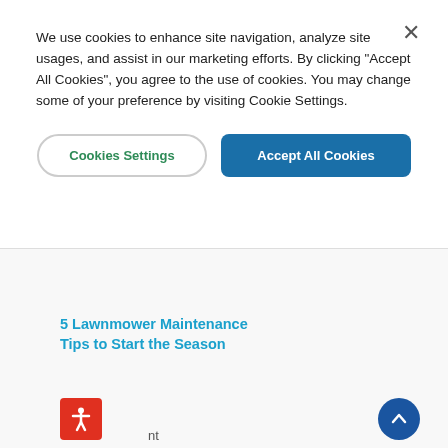We use cookies to enhance site navigation, analyze site usages, and assist in our marketing efforts. By clicking "Accept All Cookies", you agree to the use of cookies. You may change some of your preference by visiting Cookie Settings.
[Figure (screenshot): Two buttons side by side: 'Cookies Settings' (outlined, green text) and 'Accept All Cookies' (solid blue background, white text)]
5 Lawnmower Maintenance Tips to Start the Season
[Figure (other): Red accessibility icon button (person figure) at bottom left, and a blue circular scroll-to-top arrow button at bottom right]